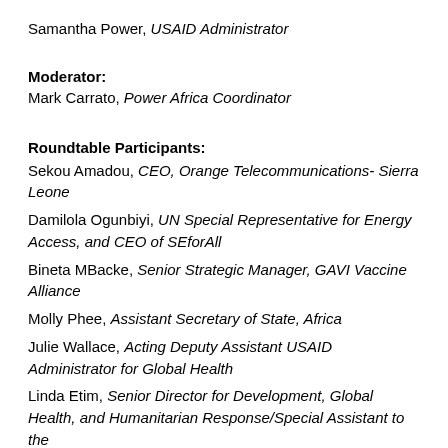Samantha Power, USAID Administrator
Moderator:
Mark Carrato, Power Africa Coordinator
Roundtable Participants:
Sekou Amadou, CEO, Orange Telecommunications- Sierra Leone
Damilola Ogunbiyi, UN Special Representative for Energy Access, and CEO of SEforAll
Bineta MBacke, Senior Strategic Manager, GAVI Vaccine Alliance
Molly Phee, Assistant Secretary of State, Africa
Julie Wallace, Acting Deputy Assistant USAID Administrator for Global Health
Linda Etim, Senior Director for Development, Global Health, and Humanitarian Response/Special Assistant to the